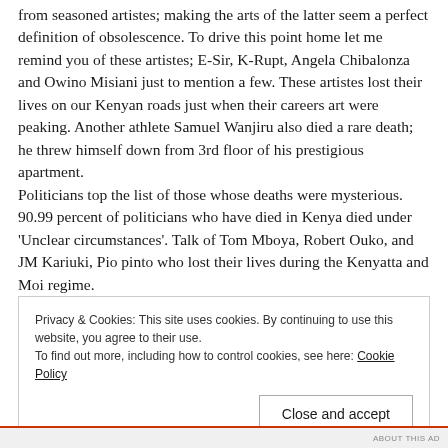from seasoned artistes; making the arts of the latter seem a perfect definition of obsolescence. To drive this point home let me remind you of these artistes; E-Sir, K-Rupt, Angela Chibalonza and Owino Misiani just to mention a few. These artistes lost their lives on our Kenyan roads just when their careers art were peaking. Another athlete Samuel Wanjiru also died a rare death; he threw himself down from 3rd floor of his prestigious apartment.
Politicians top the list of those whose deaths were mysterious. 90.99 percent of politicians who have died in Kenya died under 'Unclear circumstances'. Talk of Tom Mboya, Robert Ouko, and JM Kariuki, Pio pinto who lost their lives during the Kenyatta and Moi regime.
Privacy & Cookies: This site uses cookies. By continuing to use this website, you agree to their use.
To find out more, including how to control cookies, see here: Cookie Policy
Close and accept
ABOUT THIS AD